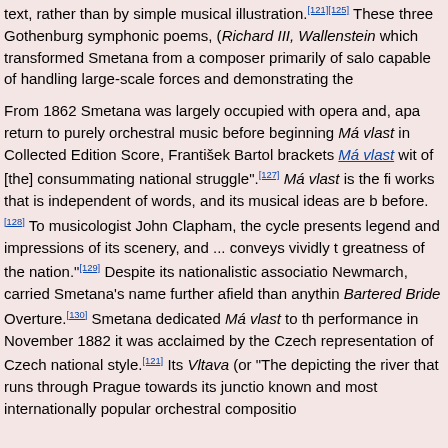text, rather than by simple musical illustration.[121][125] These three Gothenburg symphonic poems, (Richard III, Wallenstein which transformed Smetana from a composer primarily of salo capable of handling large-scale forces and demonstrating the
From 1862 Smetana was largely occupied with opera and, apa return to purely orchestral music before beginning Má vlast in Collected Edition Score, František Bartol brackets Má vlast wit of [the] consummating national struggle".[127] Má vlast is the fi works that is independent of words, and its musical ideas are b before.[128] To musicologist John Clapham, the cycle presents legend and impressions of its scenery, and ... conveys vividly t greatness of the nation."[129] Despite its nationalistic associatio Newmarch, carried Smetana's name further afield than anythin Bartered Bride Overture.[130] Smetana dedicated Má vlast to th performance in November 1882 it was acclaimed by the Czech representation of Czech national style.[121] Its Vltava (or "The depicting the river that runs through Prague towards its junctio known and most internationally popular orchestral compositio
Opera
See also: List of operas by Smetana